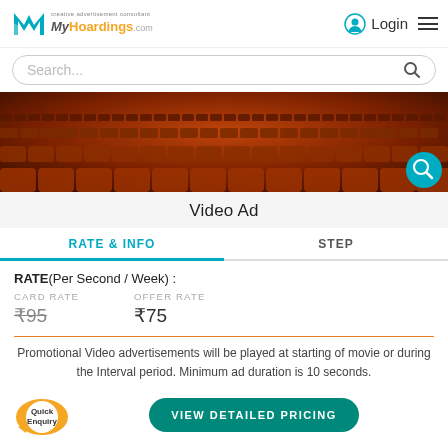[Figure (logo): MyHoardings.com logo with teal M icon and tagline 'creative advertisement consultant']
Login
[Figure (screenshot): Search bar with placeholder text 'Search...' and magnifying glass icon]
[Figure (photo): Photo of cinema theater seats rows in dark reddish-brown color, with a teal search/filter circle button in the bottom right corner]
Video Ad
RATE & INFO
STEP
RATE(Per Second / Week) :
CARD RATE
₹95
OFFER RATE
₹75
Promotional Video advertisements will be played at starting of movie or during the Interval period. Minimum ad duration is 10 seconds.
[Figure (illustration): Quick Enquiry bubble badge in orange and white]
VIEW DETAILED PRICING